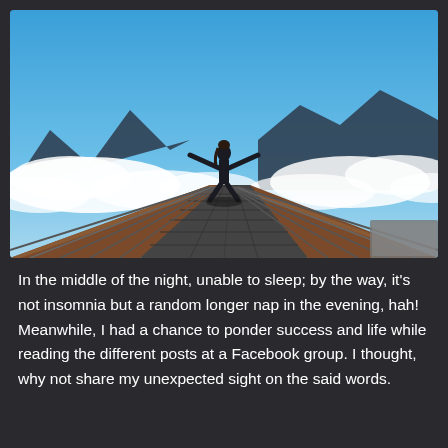[Figure (photo): Person standing on a high mountain observation deck or bridge with arms outstretched, surrounded by mountain peaks and clouds below, blue sky above.]
In the middle of the night, unable to sleep; by the way, it's not insomnia but a random longer nap in the evening, hah! Meanwhile, I had a chance to ponder success and life while reading the different posts at a Facebook group. I thought, why not share my unexpected sight on the said words.